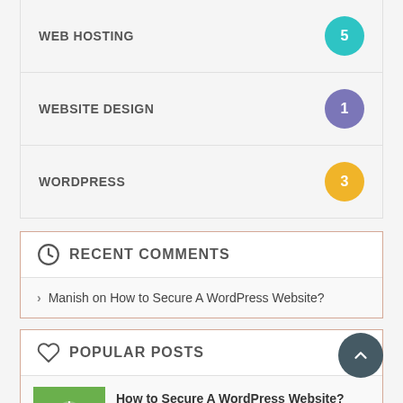WEB HOSTING 5
WEBSITE DESIGN 1
WORDPRESS 3
RECENT COMMENTS
> Manish on How to Secure A WordPress Website?
POPULAR POSTS
How to Secure A WordPress Website?